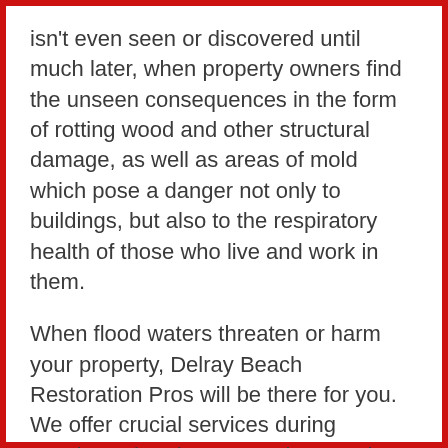isn't even seen or discovered until much later, when property owners find the unseen consequences in the form of rotting wood and other structural damage, as well as areas of mold which pose a danger not only to buildings, but also to the respiratory health of those who live and work in them.
When flood waters threaten or harm your property, Delray Beach Restoration Pros will be there for you. We offer crucial services during weather related emergencies, services that can save your property and even your wellbeing. And best of all, we'll be there to help within two hours of your call.